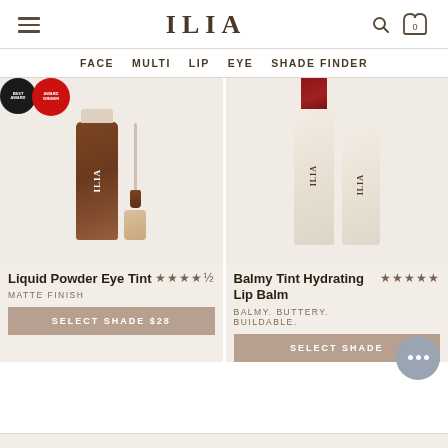ILIA
FACE  MULTI  LIP  EYE  SHADE FINDER
[Figure (photo): ILIA Liquid Powder Eye Tint product photo showing a dark brown liquid eyeshadow tube with applicator wand, with two award badge circles in upper left corner]
Liquid Powder Eye Tint ★★★★½ MATTE FINISH
SELECT SHADE $28
[Figure (photo): ILIA Balmy Tint Hydrating Lip Balm product photo showing a cream-colored lipstick tube with dark red bullet exposed and matching cap beside it]
Balmy Tint Hydrating Lip Balm ★★★★★ BALMY. BUTTERY. BUILDABLE.
SELECT SHADE